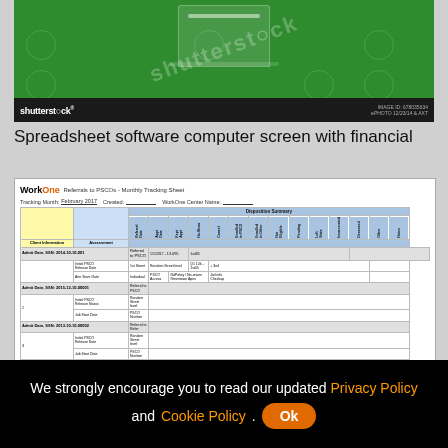[Figure (screenshot): Shutterstock stock image showing a green background with watermark text 'shutterstock' overlaid, with a dark footer bar showing Shutterstock logo and image ID. Shows a laptop computer screen.]
Spreadsheet software computer screen with financial
[Figure (screenshot): WorkOne Referrals to PSCO's - Monthly Tracking Sheet spreadsheet screenshot showing a complex Excel-style table with yellow, blue, and gray colored header rows, tracking client information, assessment data, and disposition statuses across multiple columns.]
We strongly encourage you to read our updated Privacy Policy and Cookie Policy. Ok